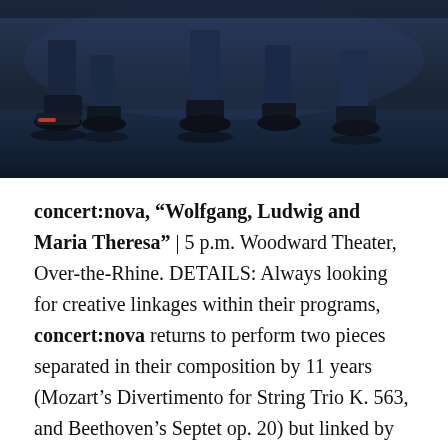[Figure (photo): Dark moody photo of musicians' feet and lower legs, showing shoes and pants on a dark blue-toned floor/stage setting.]
concert:nova, “Wolfgang, Ludwig and Maria Theresa” | 5 p.m. Woodward Theater, Over-the-Rhine. DETAILS: Always looking for creative linkages within their programs, concert:nova returns to perform two pieces separated in their composition by 11 years (Mozart’s Divertimento for String Trio K. 563, and Beethoven’s Septet op. 20) but linked by their composers’ connection to the Empress Maria Theresa. Seating is limited, so don’t blink. For CSO fane, here’s who’s playing: Ben Freimuth, clarinet; Martin Garcia, bassoon; Elizabeth Freimuth, horn; Stefani Matsuo and Eric Bates, violin; Caterina Longhi and Rebe Barnes